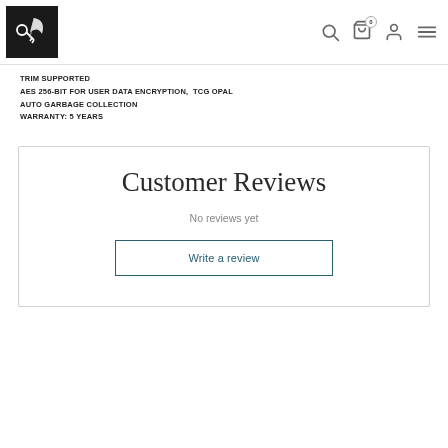Navigation header with logo and icons
TRIM SUPPORTED
AES 256-BIT FOR USER DATA ENCRYPTION,  TCG OPAL
AUTO GARBAGE COLLECTION
WARRANTY: 5 YEARS
Customer Reviews
No reviews yet
Write a review